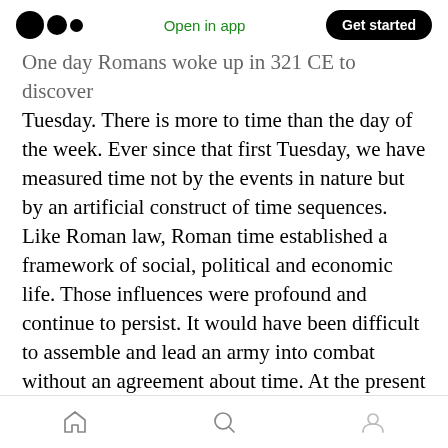Open in app | Get started
One day Romans woke up in 321 CE to discover Tuesday. There is more to time than the day of the week. Ever since that first Tuesday, we have measured time not by the events in nature but by an artificial construct of time sequences. Like Roman law, Roman time established a framework of social, political and economic life. Those influences were profound and continue to persist. It would have been difficult to assemble and lead an army into combat without an agreement about time. At the present moment, mass demonstrations or protest work with a consensus of meeting times. Every aspect of our
Home | Search | Profile